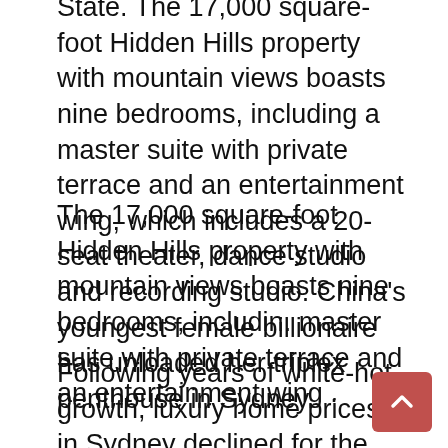State. The 17,000 square-foot Hidden Hills property with mountain views boasts nine bedrooms, including a master suite with private terrace and an entertainment wing, which includes a 20-seat theater, dance studio and recording studio. China's youngest female billionaire has unloaded her triplex penthouse in Sydney.
The 17,000 square-foot Hidden Hills property with mountain views boasts nine bedrooms, includin. master suite with private terrace and an entertainment wing .
Following years of white-hot growth, luxury home prices in Sydney declined for the first time in years, slipping 1% between the second quarter